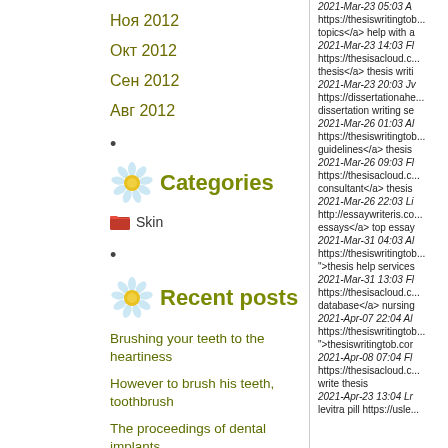Ноя 2012
Окт 2012
Сен 2012
Авг 2012
Categories
Skin
Recent posts
Brushing your teeth to the heartiness
However to brush his teeth, toothbrush
The proceedings of dental implants
Hygiene teeth. However to return and maintain the well-being of teeth
2021-Mar-23 05:03 A https://thesiswritingtob... topics</a> help with a 2021-Mar-23 14:03 Fl https://thesisacloud.c... thesis</a> thesis writi 2021-Mar-23 20:03 Jv https://dissertationahe... dissertation writing se 2021-Mar-26 01:03 Al https://thesiswritingtob... guidelines</a> thesis 2021-Mar-26 09:03 Fl https://thesisacloud.c... consultant</a> thesis 2021-Mar-26 22:03 Li http://essaywriteris.co... essays</a> top essay 2021-Mar-31 04:03 Al https://thesiswritingtob... ">thesis help services 2021-Mar-31 13:03 Fl https://thesisacloud.c... database</a> nursing 2021-Apr-07 22:04 Al https://thesiswritingtob... ">thesiswritingtob.cor 2021-Apr-08 07:04 Fl https://thesisacloud.c... write thesis 2021-Apr-23 13:04 Lr levitra pill https://usle...